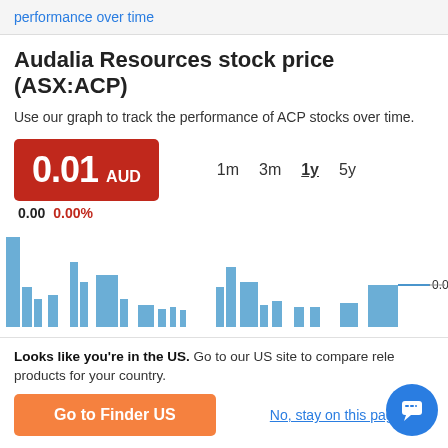performance over time
Audalia Resources stock price (ASX:ACP)
Use our graph to track the performance of ACP stocks over time.
0.01 AUD
0.00  0.00%
1m  3m  1y  5y
[Figure (bar-chart): ACP stock price over time]
Looks like you're in the US. Go to our US site to compare relevant products for your country.
Go to Finder US
No, stay on this page